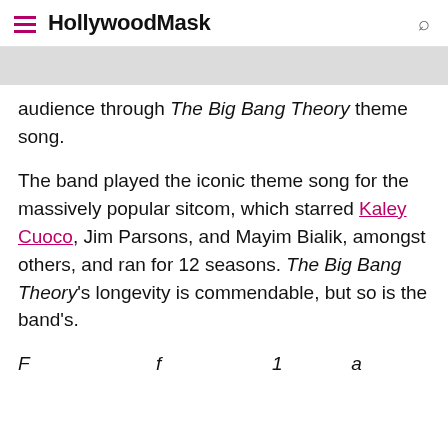HollywoodMask
audience through The Big Bang Theory theme song.
The band played the iconic theme song for the massively popular sitcom, which starred Kaley Cuoco, Jim Parsons, and Mayim Bialik, amongst others, and ran for 12 seasons. The Big Bang Theory's longevity is commendable, but so is the band's.